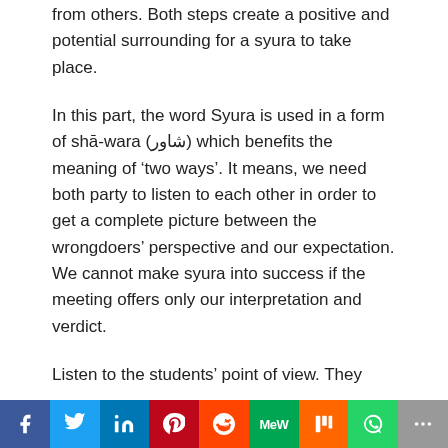from others. Both steps create a positive and potential surrounding for a syura to take place.
In this part, the word Syura is used in a form of shā-wara (شاور) which benefits the meaning of 'two ways'. It means, we need both party to listen to each other in order to get a complete picture between the wrongdoers' perspective and our expectation. We cannot make syura into success if the meeting offers only our interpretation and verdict.
Listen to the students' point of view. They